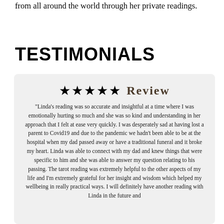from all around the world through her private readings.
TESTIMONIALS
★★★★★ Review
"Linda's reading was so accurate and insightful at a time where I was emotionally hurting so much and she was so kind and understanding in her approach that I felt at ease very quickly. I was desperately sad at having lost a parent to Covid19 and due to the pandemic we hadn't been able to be at the hospital when my dad passed away or have a traditional funeral and it broke my heart. Linda was able to connect with my dad and knew things that were specific to him and she was able to answer my question relating to his passing. The tarot reading was extremely helpful to the other aspects of my life and I'm extremely grateful for her insight and wisdom which helped my wellbeing in really practical ways. I will definitely have another reading with Linda in the future and